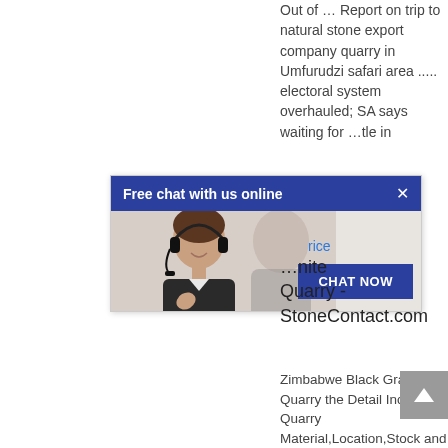Out of … Report on trip to natural stone export company quarry in Umfurudzi safari area ..... electoral system overhauled; SA says waiting for …tle in
[Figure (screenshot): Chat popup overlay showing 'Free chat with us online' header with close button, photo of a woman with headset, and 'CHAT NOW' button]
rice
…nite Quarry - StoneContact.com
Zimbabwe Black Granite Quarry the Detail Includes Quarry Material,Location,Stock and So On.You Can...